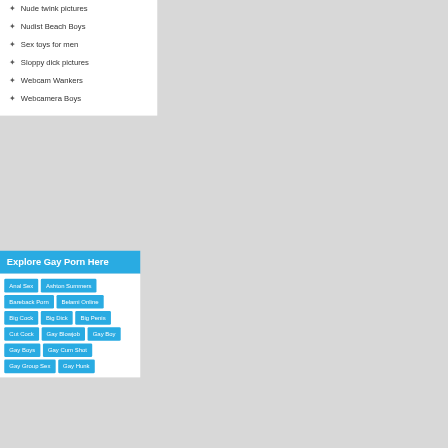Nude twink pictures
Nudist Beach Boys
Sex toys for men
Sloppy dick pictures
Webcam Wankers
Webcamera Boys
Explore Gay Porn Here
Anal Sex | Ashton Summers | Bareback Porn | Belami Online | Big Cock | Big Dick | Big Penis | Cut Cock | Gay Blowjob | Gay Boy | Gay Boys | Gay Cum Shot | Gay Group Sex | Gay Hunk